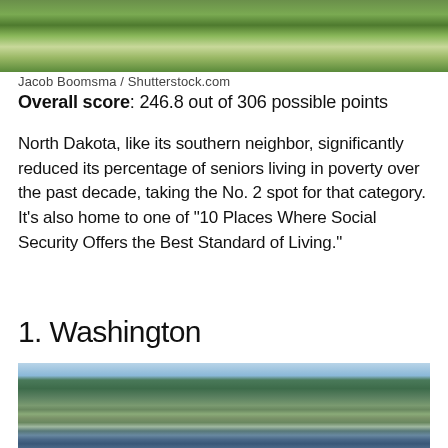[Figure (photo): Aerial photograph of a green park/campus area with paths and trees]
Jacob Boomsma / Shutterstock.com
Overall score: 246.8 out of 306 possible points
North Dakota, like its southern neighbor, significantly reduced its percentage of seniors living in poverty over the past decade, taking the No. 2 spot for that category. It’s also home to one of “10 Places Where Social Security Offers the Best Standard of Living.”
1. Washington
[Figure (photo): Aerial panoramic photograph of a waterfront city with forested hills, buildings, and a body of water — likely Seattle area, Washington]